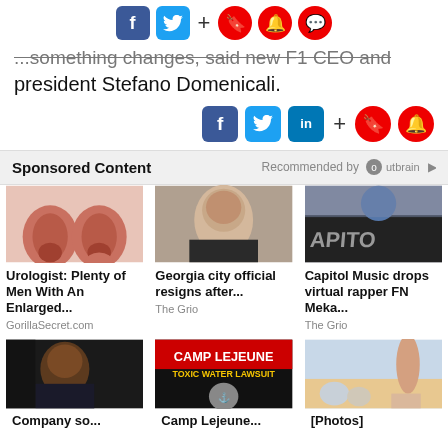[Figure (infographic): Social sharing icons: Facebook, Twitter, plus sign, bookmark, bell, comment circles]
...something changes, said new F1 CEO and president Stefano Domenicali.
[Figure (infographic): Social sharing icons row: Facebook, Twitter, LinkedIn, plus, bookmark, bell]
Sponsored Content — Recommended by Outbrain
[Figure (photo): Medical illustration of bladder/urological anatomy]
Urologist: Plenty of Men With An Enlarged...
GorillaSecret.com
[Figure (photo): Photo of a heavyset older man in a dark suit]
Georgia city official resigns after...
The Grio
[Figure (photo): Capitol Records sign on building exterior]
Capitol Music drops virtual rapper FN Meka...
The Grio
[Figure (photo): LeBron James at basketball game]
Company so...
[Figure (photo): Camp Lejeune Toxic Water Lawsuit advertisement with USMC emblem]
Camp Lejeune...
[Figure (photo): Woman in bikini on beach with children]
[Photos]